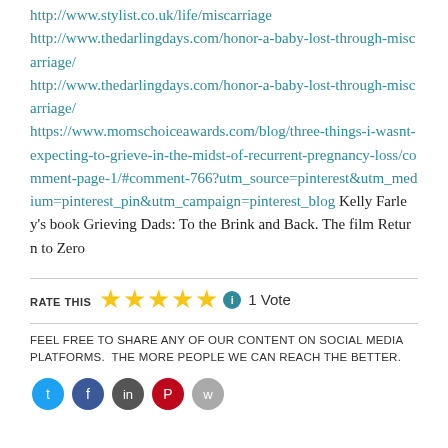http://www.stylist.co.uk/life/miscarriage http://www.thedarlingdays.com/honor-a-baby-lost-through-miscarriage/ http://www.thedarlingdays.com/honor-a-baby-lost-through-miscarriage/ https://www.momschoiceawards.com/blog/three-things-i-wasnt-expecting-to-grieve-in-the-midst-of-recurrent-pregnancy-loss/comment-page-1/#comment-766?utm_source=pinterest&utm_medium=pinterest_pin&utm_campaign=pinterest_blog Kelly Farley's book Grieving Dads: To the Brink and Back. The film Return to Zero
RATE THIS ★★★★★ ⓘ 1 Vote
FEEL FREE TO SHARE ANY OF OUR CONTENT ON SOCIAL MEDIA PLATFORMS. THE MORE PEOPLE WE CAN REACH THE BETTER.